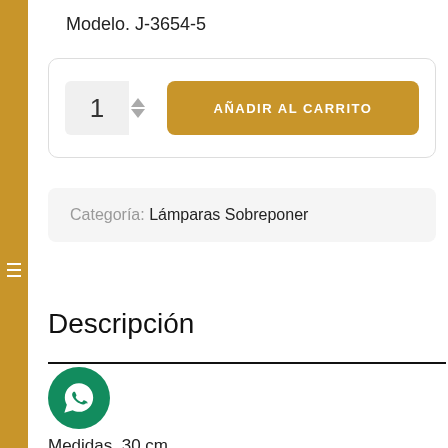Modelo. J-3654-5
[Figure (screenshot): Add to cart widget with quantity input showing '1' with up/down arrows and a gold 'AÑADIR AL CARRITO' button]
Categoría: Lámparas Sobreponer
Descripción
[Figure (logo): WhatsApp green circle icon button]
Medidas. 30 cm